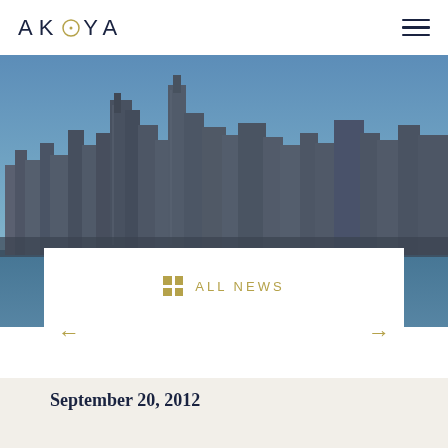AKOYA
[Figure (photo): Chicago city skyline photograph showing skyscrapers against a blue sky, with lake water visible at the bottom]
ALL NEWS
← →
September 20, 2012